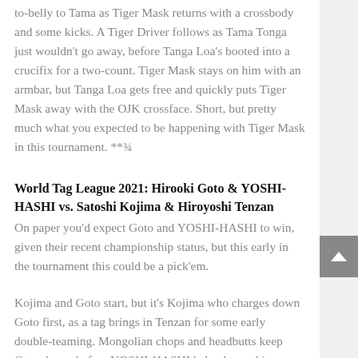to-belly to Tama as Tiger Mask returns with a crossbody and some kicks. A Tiger Driver follows as Tama Tonga just wouldn't go away, before Tanga Loa's booted into a crucifix for a two-count. Tiger Mask stays on him with an armbar, but Tanga Loa gets free and quickly puts Tiger Mask away with the OJK crossface. Short, but pretty much what you expected to be happening with Tiger Mask in this tournament. **¾
World Tag League 2021: Hirooki Goto & YOSHI-HASHI vs. Satoshi Kojima & Hiroyoshi Tenzan
On paper you'd expect Goto and YOSHI-HASHI to win, given their recent championship status, but this early in the tournament this could be a pick'em.
Kojima and Goto start, but it's Kojima who charges down Goto first, as a tag brings in Tenzan for some early double-teaming. Mongolian chops and headbutts keep Goto down, before YOSHI-HASHI helped turn things back around with some war drumming on Tenzan, as a chinlock proceeded to wear him down.